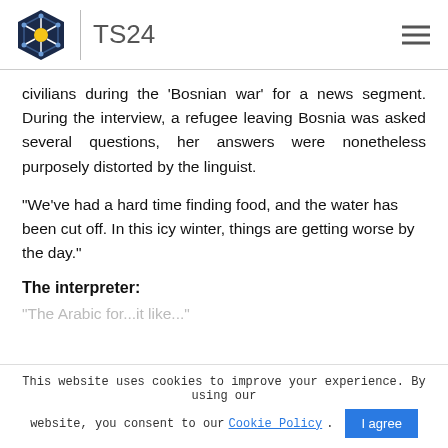TS24
civilians during the 'Bosnian war' for a news segment. During the interview, a refugee leaving Bosnia was asked several questions, her answers were nonetheless purposely distorted by the linguist.
"We've had a hard time finding food, and the water has been cut off. In this icy winter, things are getting worse by the day."
The interpreter:
"The Arabic for...it like..."
This website uses cookies to improve your experience. By using our website, you consent to our Cookie Policy.